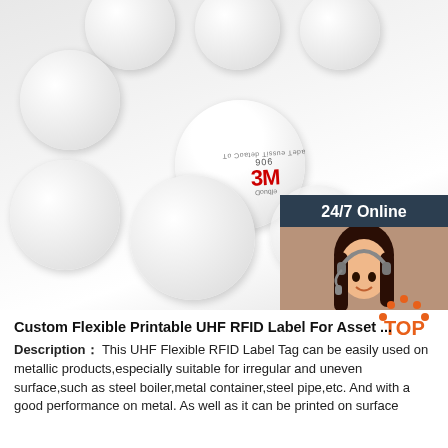[Figure (photo): Multiple white circular RFID disc tags/labels arranged on a white surface. One disc in the center shows a 3M 906 Double Coated Tissue Tape label. A customer service chat widget appears on the right side with '24/7 Online' header, a photo of a female agent wearing a headset, 'Click here for free chat!' text, and an orange 'QUOTATION' button.]
Custom Flexible Printable UHF RFID Label For Asset ...
Description： This UHF Flexible RFID Label Tag can be easilyused on metallic products,especially suitable for irregular and uneven surface,such as steel boiler,metal container,steel pipe,etc. And with a good performance on metal. As well as it can be printed on surface